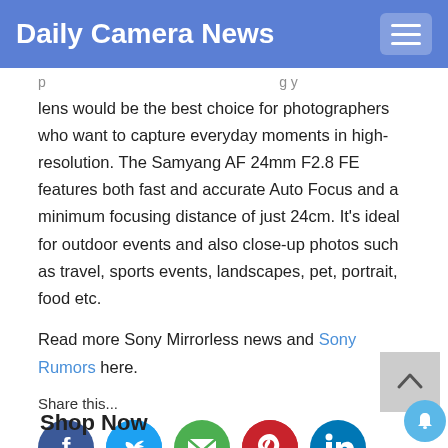Daily Camera News
lens would be the best choice for photographers who want to capture everyday moments in high-resolution. The Samyang AF 24mm F2.8 FE features both fast and accurate Auto Focus and a minimum focusing distance of just 24cm. It's ideal for outdoor events and also close-up photos such as travel, sports events, landscapes, pet, portrait, food etc.
Read more Sony Mirrorless news and Sony Rumors here.
Share this...
[Figure (infographic): Social share icons: Facebook, Twitter, Email, Pinterest, LinkedIn]
Shop Now